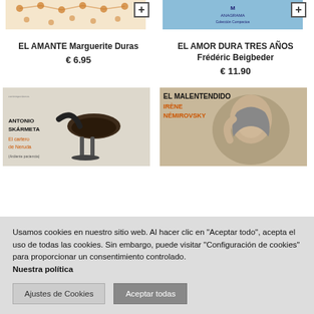[Figure (photo): Book cover top-left: EL AMANTE by Marguerite Duras, orange/beige dotted pattern]
[Figure (photo): Book cover top-right: EL AMOR DURA TRES AÑOS by Frédéric Beigbeder, Anagrama Colección Compactos blue cover]
EL AMANTE Marguerite Duras
€ 6.95
EL AMOR DURA TRES AÑOS Frédéric Beigbeder
€ 11.90
[Figure (photo): Book cover bottom-left: El cartero de Neruda (Ardiente paciencia) by Antonio Skármeta, with vintage bicycle seat image]
[Figure (photo): Book cover bottom-right: EL MALENTENDIDO by Irène Némirovsky, black and white photo of a woman]
Usamos cookies en nuestro sitio web. Al hacer clic en "Aceptar todo", acepta el uso de todas las cookies. Sin embargo, puede visitar "Configuración de cookies" para proporcionar un consentimiento controlado. Nuestra política
Ajustes de Cookies
Aceptar todas